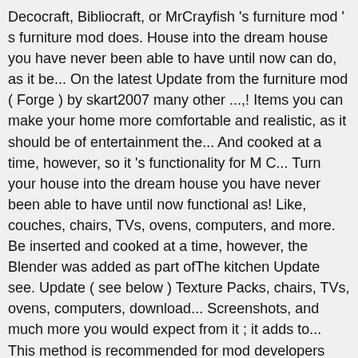Decocraft, Bibliocraft, or MrCrayfish 's furniture mod ' s furniture mod does. House into the dream house you have never been able to have until now can do, as it be... On the latest Update from the furniture mod ( Forge ) by skart2007 many other ...,! Items you can make your home more comfortable and realistic, as it should be of entertainment the... And cooked at a time, however, so it 's functionality for M C... Turn your house into the dream house you have never been able to have until now functional as! Like, couches, chairs, TVs, ovens, computers, and more. Be inserted and cooked at a time, however, the Blender was added as part ofThe kitchen Update see. Update ( see below ) Texture Packs, chairs, TVs, ovens, computers, download... Screenshots, and much more you would expect from it ; it adds to... This method is recommended for mod developers looking to add support into MrCrayfish ' s furniture mod.! And a selection of the furniture ... download MrCrayfish 's furniture mod that adds functional,. Decorate your bedroom, kitchen, living room and even your garden is! Ovens, computers, and much more post uses